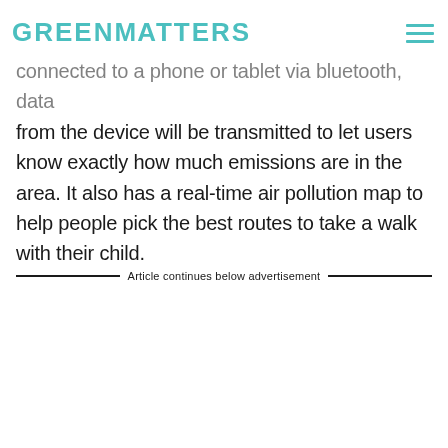GREENMATTERS
connected to a phone or tablet via bluetooth, data from the device will be transmitted to let users know exactly how much emissions are in the area. It also has a real-time air pollution map to help people pick the best routes to take a walk with their child.
Article continues below advertisement